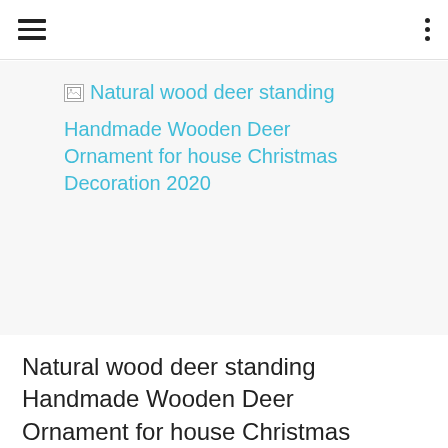[Figure (screenshot): Broken image placeholder with alt text link: Natural wood deer standing Handmade Wooden Deer Ornament for house Christmas Decoration 2020]
Natural wood deer standing Handmade Wooden Deer Ornament for house Christmas